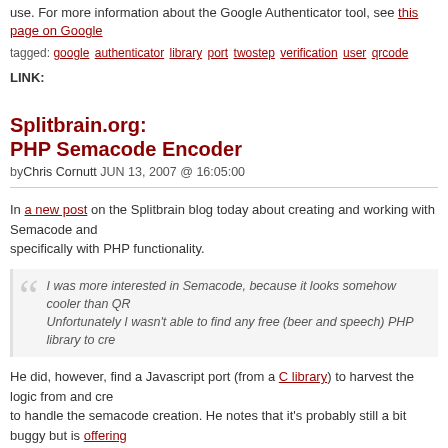use. For more information about the Google Authenticator tool, see this page on Google…
tagged: google authenticator library port twostep verification user qrcode
LINK:
Splitbrain.org: PHP Semacode Encoder
byChris Cornutt JUN 13, 2007 @ 16:05:00
In a new post on the Splitbrain blog today about creating and working with Semacode and specifically with PHP functionality.
I was more interested in Semacode, because it looks somehow cooler than QR… Unfortunately I wasn't able to find any free (beer and speech) PHP library to cre…
He did, however, find a Javascript port (from a C library) to harvest the logic from and cre… to handle the semacode creation. He notes that it's probably still a bit buggy but is offering… whoever might want to mess around with it.
tagged: semacode encode library barcode qrcode datamatrix semacode encode library barcode grc…
LINK: